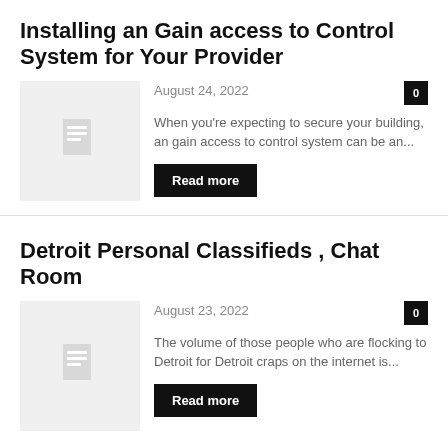Installing an Gain access to Control System for Your Provider
August 24, 2022
[Figure (illustration): Placeholder thumbnail with document icon on light grey background]
When you're expecting to secure your building, an gain access to control system can be an...
Read more
Detroit Personal Classifieds , Chat Room
August 23, 2022
[Figure (illustration): Placeholder thumbnail with document icon on light grey background]
The volume of those people who are flocking to Detroit for Detroit craps on the internet is...
Read more